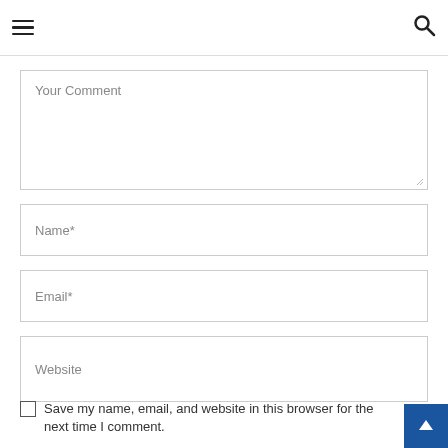hamburger menu icon and search icon
Your Comment
Name*
Email*
Website
Save my name, email, and website in this browser for the next time I comment.